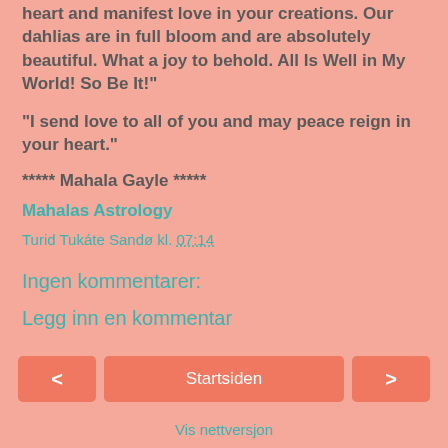heart and manifest love in your creations. Our dahlias are in full bloom and are absolutely beautiful. What a joy to behold. All Is Well in My World! So Be It!"
"I send love to all of you and may peace reign in your heart."
***** Mahala Gayle *****
Mahalas Astrology
Turid Tukáte Sandø kl. 07:14
Ingen kommentarer:
Legg inn en kommentar
< Startsiden >
Vis nettversjon